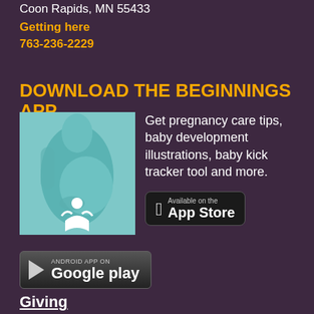Coon Rapids, MN 55433
Getting here
763-236-2229
DOWNLOAD THE BEGINNINGS APP
[Figure (photo): Pregnant woman holding belly with a teal/blue tint and a white Allina Health logo overlay]
Get pregnancy care tips, baby development illustrations, baby kick tracker tool and more.
[Figure (infographic): Available on the App Store button (black rounded rectangle with Apple logo)]
[Figure (infographic): Android App on Google Play button (dark gradient rounded rectangle with play arrow)]
Giving